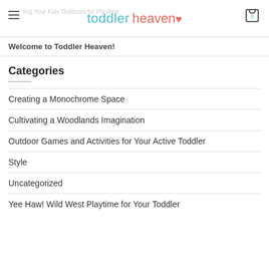toddler heaven
Welcome to Toddler Heaven!
Categories
Creating a Monochrome Space
Cultivating a Woodlands Imagination
Outdoor Games and Activities for Your Active Toddler
Style
Uncategorized
Yee Haw! Wild West Playtime for Your Toddler